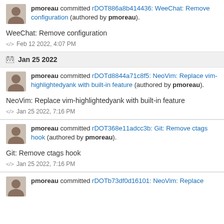pmoreau committed rDOT886a8b414436: WeeChat: Remove configuration (authored by pmoreau).
WeeChat: Remove configuration
<> Feb 12 2022, 4:07 PM
Jan 25 2022
pmoreau committed rDOTd8844a71c8f5: NeoVim: Replace vim-highlightedyank with built-in feature (authored by pmoreau).
NeoVim: Replace vim-highlightedyank with built-in feature
<> Jan 25 2022, 7:16 PM
pmoreau committed rDOT368e11adcc3b: Git: Remove ctags hook (authored by pmoreau).
Git: Remove ctags hook
<> Jan 25 2022, 7:16 PM
pmoreau committed rDOTb73df0d16101: NeoVim: Replace